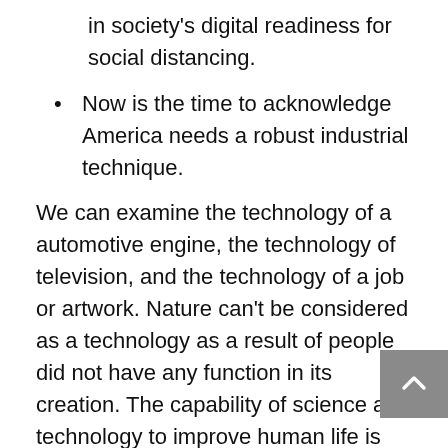in society's digital readiness for social distancing.
Now is the time to acknowledge America needs a robust industrial technique.
We can examine the technology of a automotive engine, the technology of television, and the technology of a job or artwork. Nature can't be considered as a technology as a result of people did not have any function in its creation. The capability of science and technology to improve human life is known to us.
Approximately the same dimension as a quarter, the Stick-N-Find sticker has a range of approximately one hundred feet and the battery lasts a few 12 months. When the battery is working low on energy, the Stick-N-Find smartphone software will alert the user. After